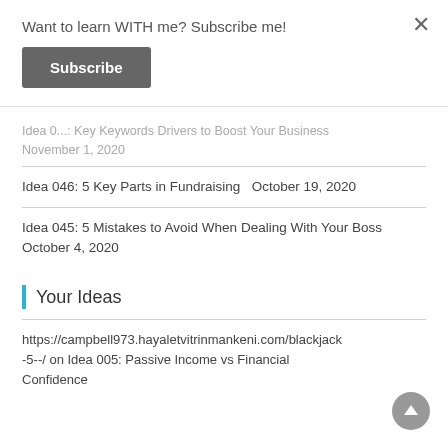Want to learn WITH me? Subscribe me!
Subscribe
Idea 0: ... Key Keywords Drivers to Boost Your Business November 1, 2020
Idea 046: 5 Key Parts in Fundraising  October 19, 2020
Idea 045: 5 Mistakes to Avoid When Dealing With Your Boss  October 4, 2020
Your Ideas
https://campbell973.hayaletvitrinmankeni.com/blackjack-5--/ on Idea 005: Passive Income vs Financial Confidence